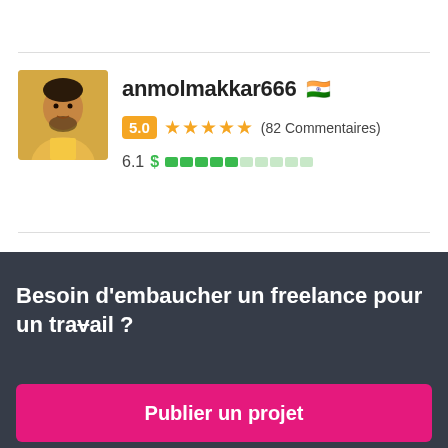[Figure (photo): Profile photo of anmolmakkar666 – person in yellow shirt, square avatar]
anmolmakkar666 🇮🇳
5.0 ★★★★★ (82 Commentaires)
6.1 $ ■■■■■□□□□□
[Figure (logo): SJDESIGNER9 logo – dark background with triangular/arrow icon]
SJDESIGNER9 🇵🇰
Besoin d'embaucher un freelance pour un travail ?
Publier un projet